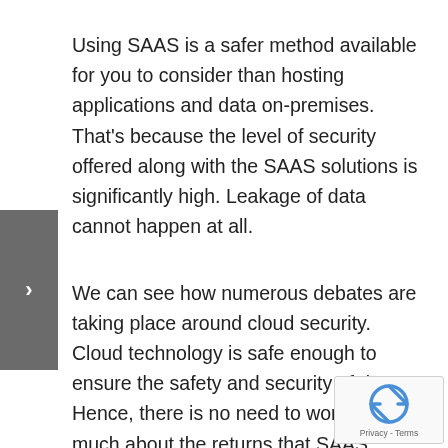Using SAAS is a safer method available for you to consider than hosting applications and data on-premises. That's because the level of security offered along with the SAAS solutions is significantly high. Leakage of data cannot happen at all.
We can see how numerous debates are taking place around cloud security. Cloud technology is safe enough to ensure the safety and security of data. Hence, there is no need to worry too much about the returns that SAAS solutions are offering. They are delivering the maximum level of safety to the people who use them at the end of the day.